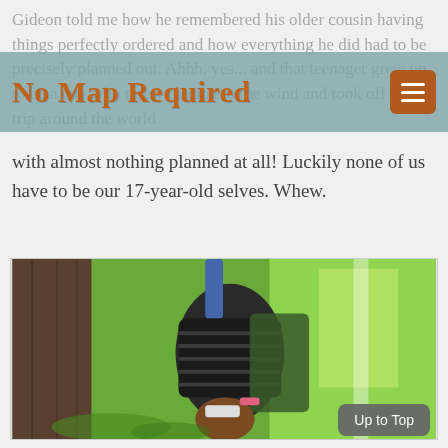Gideon told me how he remembered his older cousin having things perfectly ordered and how everything he did had to be precisely planned out. Ahhh, yes... and that teenager grew up to be a guy who threw caution to the wind and took off for a trip around the world with almost nothing planned at all! Luckily none of us have to be our 17-year-old selves. Whew.
No Map Required
[Figure (photo): Person photographed upside down or sideways in a green outdoor setting with trees and moss-covered ground]